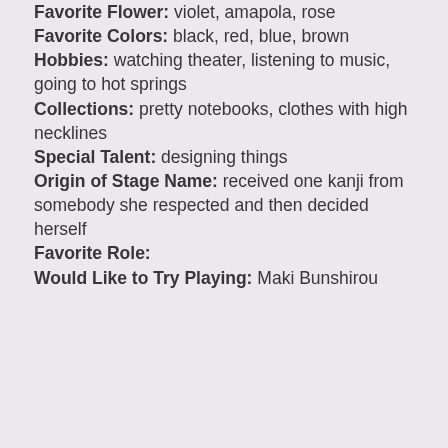Favorite Flower: violet, amapola, rose
Favorite Colors: black, red, blue, brown
Hobbies: watching theater, listening to music, going to hot springs
Collections: pretty notebooks, clothes with high necklines
Special Talent: designing things
Origin of Stage Name: received one kanji from somebody she respected and then decided herself
Favorite Role:
Would Like to Try Playing: Maki Bunshirou